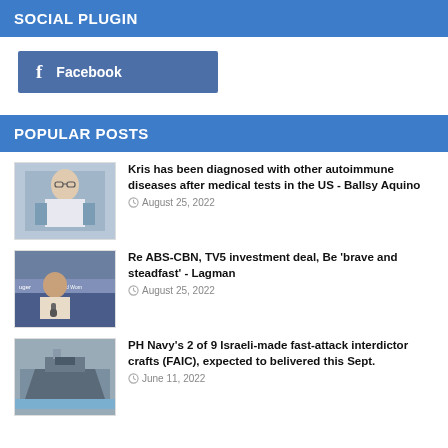SOCIAL PLUGIN
[Figure (logo): Facebook button with 'f' icon and 'Facebook' label on blue background]
POPULAR POSTS
[Figure (photo): Woman with glasses sitting indoors]
Kris has been diagnosed with other autoimmune diseases after medical tests in the US - Ballsy Aquino
August 25, 2022
[Figure (photo): Elderly man speaking into a microphone with banner in background]
Re ABS-CBN, TV5 investment deal, Be 'brave and steadfast' - Lagman
August 25, 2022
[Figure (photo): Naval vessel / fast-attack craft on water]
PH Navy's 2 of 9 Israeli-made fast-attack interdictor crafts (FAIC), expected to belivered this Sept.
June 11, 2022